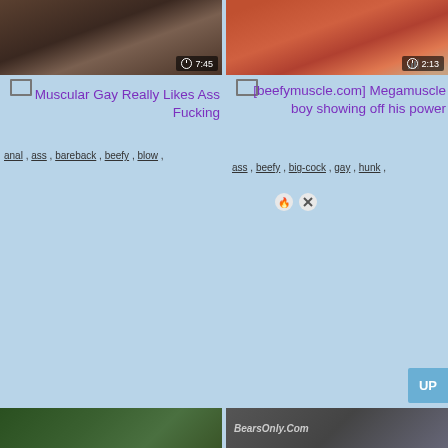[Figure (photo): Left video thumbnail showing dark-toned intimate scene with duration badge 7:45]
[Figure (photo): Right video thumbnail showing muscular person with red shorts, duration badge 2:13]
Muscular Gay Really Likes Ass Fucking
anal , ass , bareback , beefy , blow ,
[beefymuscle.com] Megamuscle boy showing off his power
ass , beefy , big-cock , gay , hunk ,
[Figure (photo): Bottom left thumbnail showing outdoor/forest scene]
[Figure (photo): Bottom right thumbnail with BearsOnly.Com logo text]